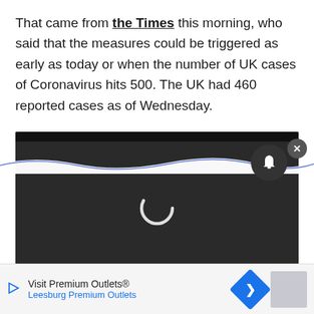That came from the Times this morning, who said that the measures could be triggered as early as today or when the number of UK cases of Coronavirus hits 500. The UK had 460 reported cases as of Wednesday.
[Figure (screenshot): Video player showing a dark/loading screen with a spinner icon, timestamp 0:00, mute and fullscreen controls]
[Figure (screenshot): Advertisement bar: Visit Premium Outlets® / Leesburg Premium Outlets with a blue navigation arrow icon]